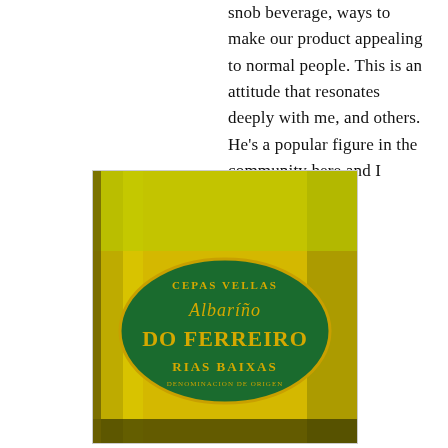snob beverage, ways to make our product appealing to normal people. This is an attitude that resonates deeply with me, and others. He's a popular figure in the community here and I understand why.
[Figure (photo): Close-up of a wine bottle with a green oval label reading: CEPAS VELLAS, Albariño Do Ferreiro, RIAS BAIXAS, DENOMINACION DE ORIGEN]